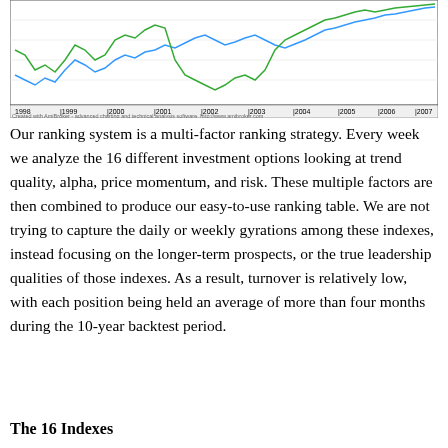[Figure (continuous-plot): Line chart showing investment index trends from 1998 to 2007, with blue and green lines representing different indexes. X-axis shows years 1998-2007. Chart created with AmiBroker advanced charting and technical analysis software.]
Our ranking system is a multi-factor ranking strategy. Every week we analyze the 16 different investment options looking at trend quality, alpha, price momentum, and risk. These multiple factors are then combined to produce our easy-to-use ranking table. We are not trying to capture the daily or weekly gyrations among these indexes, instead focusing on the longer-term prospects, or the true leadership qualities of those indexes. As a result, turnover is relatively low, with each position being held an average of more than four months during the 10-year backtest period.
The 16 Indexes